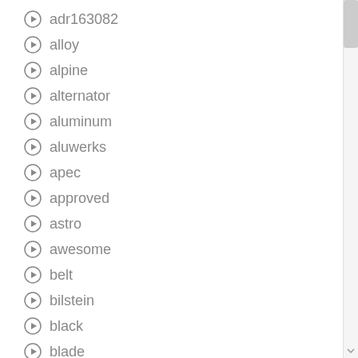adr163082
alloy
alpine
alternator
aluminum
aluwerks
apec
approved
astro
awesome
belt
bilstein
black
blade